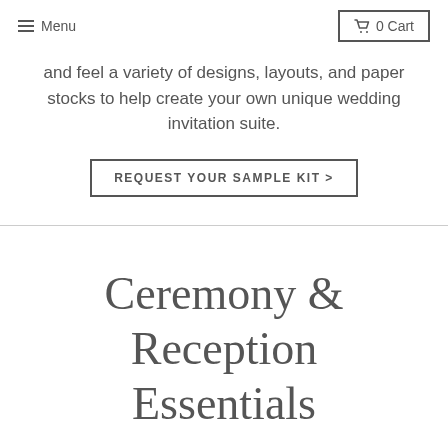Menu  0 Cart
and feel a variety of designs, layouts, and paper stocks to help create your own unique wedding invitation suite.
REQUEST YOUR SAMPLE KIT >
Ceremony & Reception Essentials